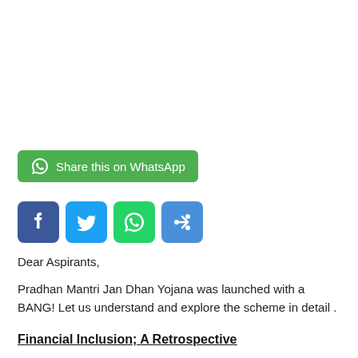[Figure (infographic): Green WhatsApp Share button with WhatsApp icon and text 'Share this on WhatsApp']
[Figure (infographic): Row of four social media icon buttons: Facebook (blue), Twitter (light blue), WhatsApp (green), More/Share (blue)]
Dear Aspirants,
Pradhan Mantri Jan Dhan Yojana was launched with a BANG! Let us understand and explore the scheme in detail .
Financial Inclusion; A Retrospective